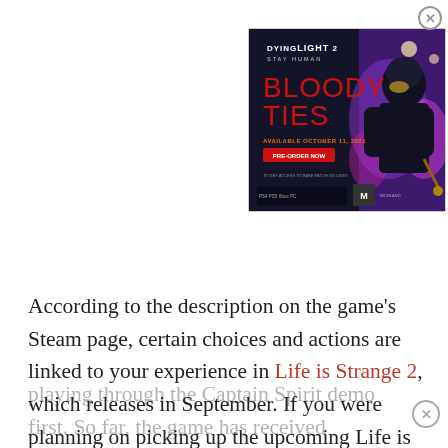[Figure (advertisement): Dying Light 2 Stay Human – Bloody Ties DLC advertisement. Dark background with hooded character, text 'DYING LIGHT 2 STAY HUMAN', 'BLOODY TIES' in large red letters, 'AVAILABLE OCTOBER 11, 2022', a red pre-order button, and platform logos at the bottom.]
According to the description on the game's Steam page, certain choices and actions are linked to your experience in Life is Strange 2, which releases in September. If you were planning on picking up the upcoming Life is Strange sequel, then it's a good idea to prepare yourself by playing through the Captain Spirit demo first. So far, the game has received positive reception and appears to